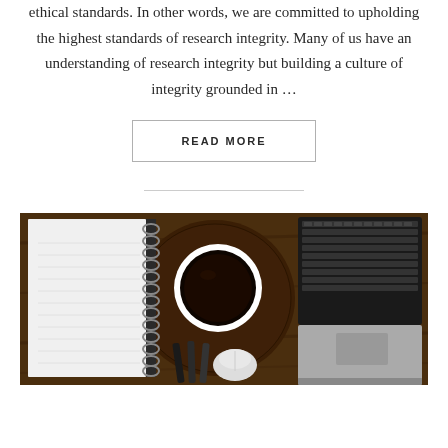ethical standards. In other words, we are committed to upholding the highest standards of research integrity. Many of us have an understanding of research integrity but building a culture of integrity grounded in ...
READ MORE
[Figure (photo): Overhead view of a wooden desk with a notebook, coffee cup, pens, mouse, and laptop keyboard]